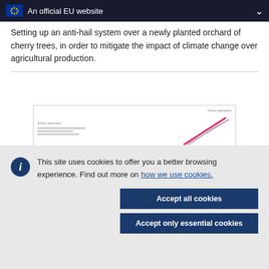An official EU website
Setting up an anti-hail system over a newly planted orchard of cherry trees, in order to mitigate the impact of climate change over agricultural production.
[Figure (screenshot): Thumbnail preview of a document with small text labels and diagonal lines/graphics]
This site uses cookies to offer you a better browsing experience. Find out more on how we use cookies.
Accept all cookies
Accept only essential cookies